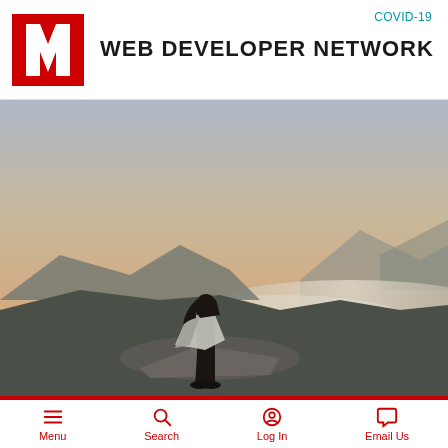COVID-19
WEB DEVELOPER NETWORK
[Figure (photo): Person standing on a rocky outcrop overlooking misty mountains at dusk or dawn, wearing a striped poncho and jeans, viewed from behind.]
Menu
Search
Log In
Email Us